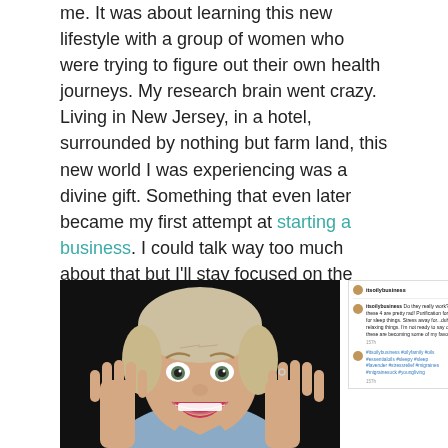me. It was about learning this new lifestyle with a group of women who were trying to figure out their own health journeys. My research brain went crazy. Living in New Jersey, in a hotel, surrounded by nothing but farm land, this new world I was experiencing was a divine gift. Something that even later became my first attempt at starting a business. I could talk way too much about that but I'll stay focused on the migraine piece.
[Figure (photo): Woman with blonde hair making a surprised/excited face with hands raised, fingers spread, wearing a blue shirt. Dark background.]
[Figure (screenshot): Instagram screenshot showing @itsoilybusiness post. Comment reads: 'itsoilybusiness Do they really work??? I don't know...but these 4 are pretty rad! Purification for smelly things. Lavender for sleep things. Stress away for...duh. Frankincense for relaxing things. I'm not ready to say oils for "all the things" but these are becoming some of my favorite things!!' and hashtags: #itsoilybusiness #oilyfamily #oils #essentialoils #sleepy #sleep #lavender #stressrelief #migraines #migrainesuck #youngliving]